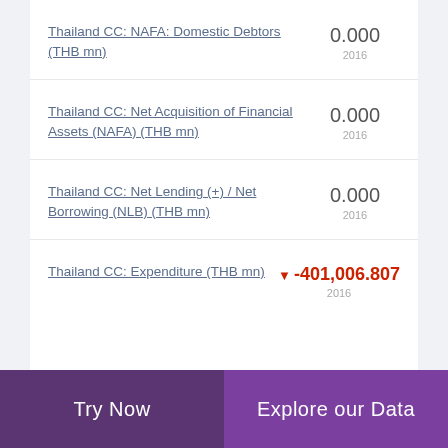Thailand CC: NAFA: Domestic Debtors (THB mn)
Thailand CC: Net Acquisition of Financial Assets (NAFA) (THB mn)
Thailand CC: Net Lending (+) / Net Borrowing (NLB) (THB mn)
Thailand CC: Expenditure (THB mn)
Try Now | Explore our Data